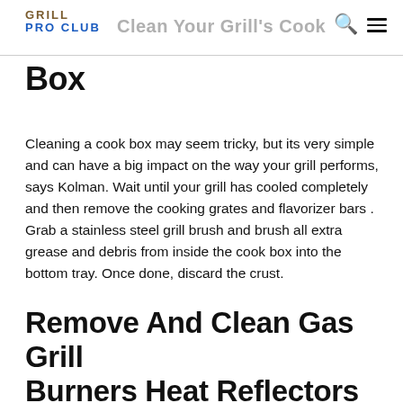GRILL PRO CLUB — Clean Your Grill's Cook Box
Clean Your Grill's Cook Box
Cleaning a cook box may seem tricky, but its very simple and can have a big impact on the way your grill performs, says Kolman. Wait until your grill has cooled completely and then remove the cooking grates and flavorizer bars . Grab a stainless steel grill brush and brush all extra grease and debris from inside the cook box into the bottom tray. Once done, discard the crust.
Remove And Clean Gas Grill Burners Heat Reflectors